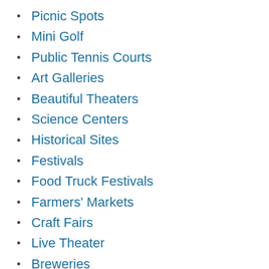Picnic Spots
Mini Golf
Public Tennis Courts
Art Galleries
Beautiful Theaters
Science Centers
Historical Sites
Festivals
Food Truck Festivals
Farmers' Markets
Craft Fairs
Live Theater
Breweries